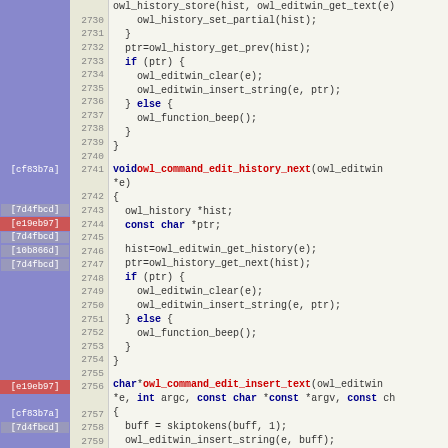[Figure (screenshot): Source code viewer with blame annotations showing C code for owl command editing functions. Lines 2730-2759 are visible. Left column shows commit hashes [cf83b7a], [7d4fbcd], [e19eb97], [10b866d] in colored blame blocks. Center shows line numbers. Right shows C source code including owl_history_store, owl_history_set_partial, owl_command_edit_history_next, owl_command_edit_insert_text functions.]